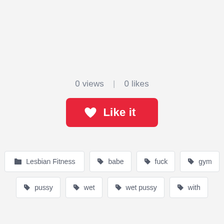0 views  |  0 likes
[Figure (other): Red 'Like it' button with heart icon]
Lesbian Fitness
babe
fuck
gym
pussy
wet
wet pussy
with